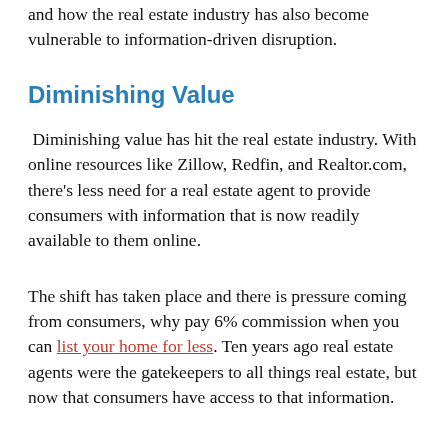and how the real estate industry has also become vulnerable to information-driven disruption.
Diminishing Value
Diminishing value has hit the real estate industry. With online resources like Zillow, Redfin, and Realtor.com, there’s less need for a real estate agent to provide consumers with information that is now readily available to them online.
The shift has taken place and there is pressure coming from consumers, why pay 6% commission when you can list your home for less. Ten years ago real estate agents were the gatekeepers to all things real estate, but now that consumers have access to that information.